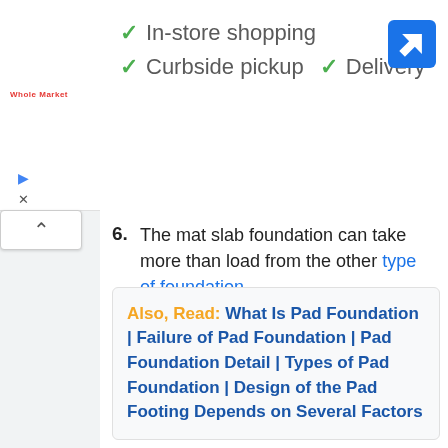[Figure (screenshot): Ad banner with Whole Market logo, green checkmarks listing 'In-store shopping', 'Curbside pickup', 'Delivery', and a Google Maps navigation icon]
6. The mat slab foundation can take more than load from the other type of foundation.
7. In another advantage is that the mat slab foundation can construct in poor soil.
Also, Read: What Is Pad Foundation | Failure of Pad Foundation | Pad Foundation Detail | Types of Pad Foundation | Design of the Pad Footing Depends on Several Factors